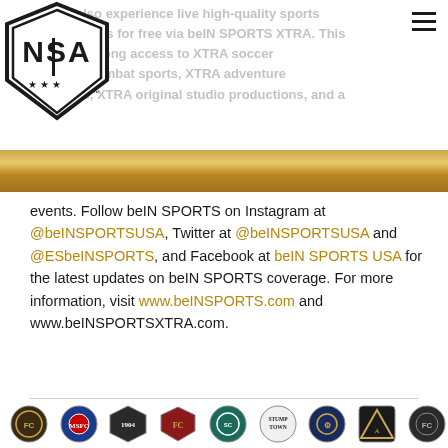[Figure (logo): NISA (National Independent Soccer Association) shield logo with stars, top-left corner]
can also experience live high-quality sports properties for free via beIN SPORTS XTRA. This season-long access to XTRA soccer XTRA combat sports, XTRA adventure sports, XTRA original studio productions, and a [gold banner] events. Follow beIN SPORTS on Instagram at @beINSPORTSUSA, Twitter at @beINSPORTSUSA and @ESbeINSPORTS, and Facebook at beIN SPORTS USA for the latest updates on beIN SPORTS coverage. For more information, visit www.beINSPORTS.com and www.beINSPORTSXTRA.com.
[Figure (logo): Row of soccer club badge logos at the bottom of the page]